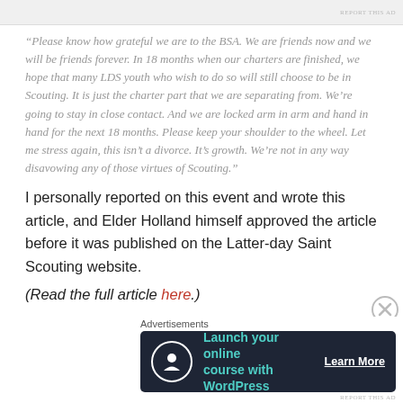[Figure (photo): Top strip showing partial advertisement image with 'REPORT THIS AD' text in upper right]
“Please know how grateful we are to the BSA. We are friends now and we will be friends forever. In 18 months when our charters are finished, we hope that many LDS youth who wish to do so will still choose to be in Scouting. It is just the charter part that we are separating from. We’re going to stay in close contact. And we are locked arm in arm and hand in hand for the next 18 months. Please keep your shoulder to the wheel. Let me stress again, this isn’t a divorce. It’s growth. We’re not in any way disavowing any of those virtues of Scouting.”
I personally reported on this event and wrote this article, and Elder Holland himself approved the article before it was published on the Latter-day Saint Scouting website.
(Read the full article here.)
Advertisements
[Figure (screenshot): Advertisement banner with dark navy background: tree/person icon in circle, text 'Launch your online course with WordPress' in teal, 'Learn More' button in white]